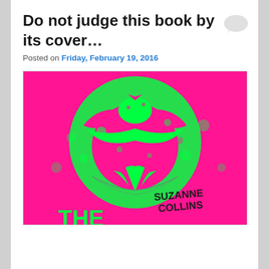Do not judge this book by its cover…
Posted on Friday, February 19, 2016
[Figure (photo): A neon pink and green psychedelic book cover of The Hunger Games by Suzanne Collins, showing the mockingjay symbol in bright green on a hot pink background with 'SUZANNE COLLINS' text visible in the lower right and 'THE' partially visible at the bottom.]